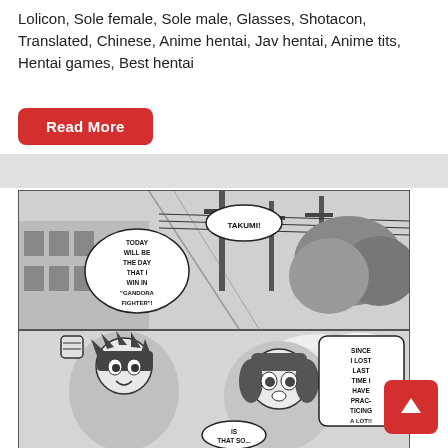Lolicon, Sole female, Sole male, Glasses, Shotacon, Translated, Chinese, Anime hentai, Jav hentai, Anime tits, Hentai games, Best hentai
Read More
[Figure (illustration): Top manga panel: outdoor scene with power lines and trees in the background. A speech bubble says 'TAKUMI!' and another says 'TODAY WILL BE THE DAY THAT I WIN IN "GANDORA FIGHTER"!']
[Figure (illustration): Bottom manga panel: two anime characters, a boy with spiky hair raising his fist and a girl with short hair. Speech bubbles say 'SINCE I LOST LAST TIME I HAVE BEEN PRACTICING A LOT!!' and 'IS THAT SO...']